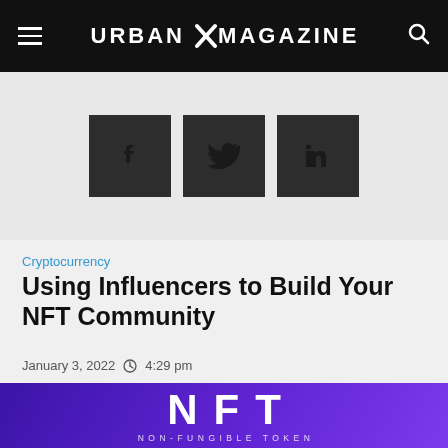URBAN X MAGAZINE
[Figure (other): Social share buttons: Facebook, Twitter, LinkedIn]
Cryptocurrency
Using Influencers to Build Your NFT Community
January 3, 2022  4:29 pm
[Figure (illustration): NFT banner image with purple background showing large text NFT and subtitle NON-FUNGIBLE TOKEN]